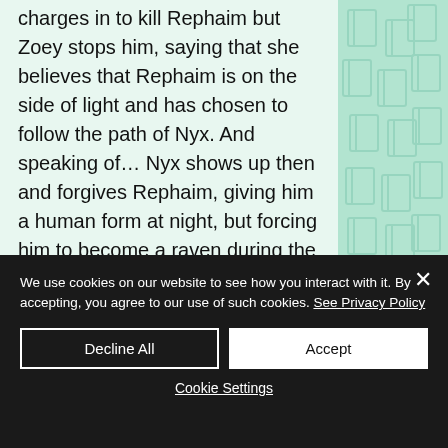charges in to kill Rephaim but Zoey stops him, saying that she believes that Rephaim is on the side of light and has chosen to follow the path of Nyx. And speaking of… Nyx shows up then and forgives Rephaim, giving him a human form at night, but forcing him to become a raven during the daytime as payment for killing Anastasia. Rephaim offers an oath to Dragon but Dragon rejects him and Neferet says she can't allow him to remain at the House of Night. Nyx tells
We use cookies on our website to see how you interact with it. By accepting, you agree to our use of such cookies. See Privacy Policy
Decline All
Accept
Cookie Settings